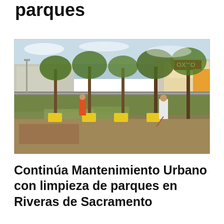parques
[Figure (photo): Workers doing park maintenance - cleaning grass and ground around young trees planted along a median or green area near a road, with yellow barriers around the tree bases. An OXXO convenience store is visible in the background.]
Continúa Mantenimiento Urbano con limpieza de parques en Riveras de Sacramento